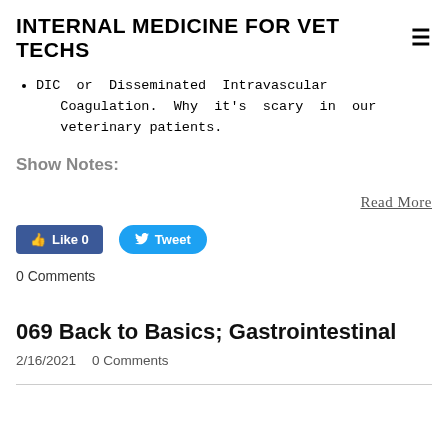INTERNAL MEDICINE FOR VET TECHS
DIC or Disseminated Intravascular Coagulation. Why it's scary in our veterinary patients.
Show Notes:
Read More
Like 0   Tweet
0 Comments
069 Back to Basics; Gastrointestinal
2/16/2021   0 Comments